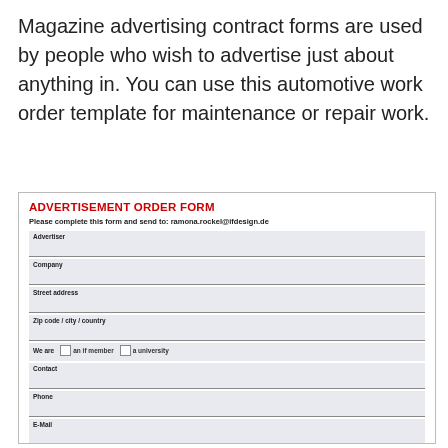Magazine advertising contract forms are used by people who wish to advertise just about anything in. You can use this automotive work order template for maintenance or repair work.
ADVERTISEMENT ORDER FORM
Please complete this form and send to: ramona.rockel@ifdesign.de
Advertiser
Company
Street address
Zip code / city / country
We are   an if member   a university
Contact
Phone
E-Mail
File folder name